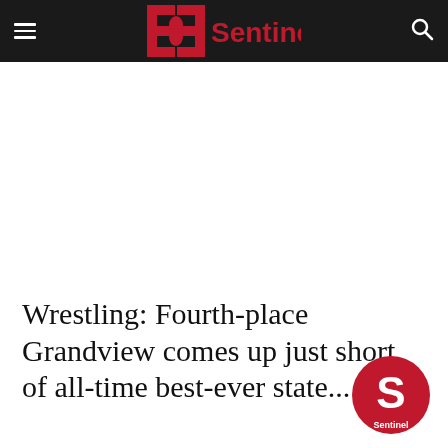Sentinel
Wrestling: Fourth-place Grandview comes up just short of all-time best-ever state...